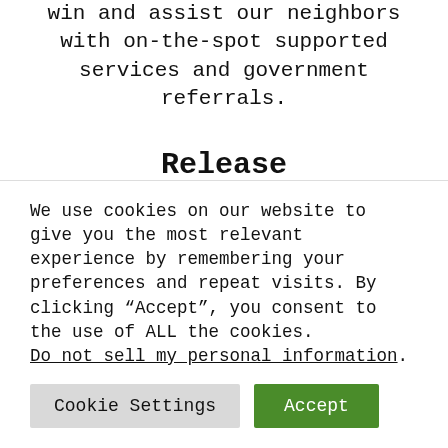win and assist our neighbors with on-the-spot supported services and government referrals.
Release
Remove external lack experiences accept solutions for eternal gain. Dark thoughts of the past hurts and pains can leave a residue of nothing land the word of
We use cookies on our website to give you the most relevant experience by remembering your preferences and repeat visits. By clicking “Accept”, you consent to the use of ALL the cookies. Do not sell my personal information.